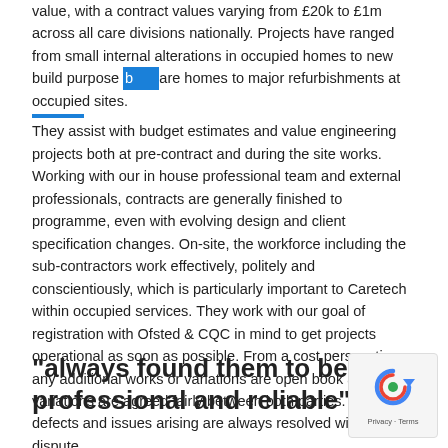value, with a contract values varying from £20k to £1m across all care divisions nationally. Projects have ranged from small internal alterations in occupied homes to new build purpose b[highlighted]care homes to major refurbishments at occupied sites. They assist with budget estimates and value engineering projects both at pre-contract and during the site works. Working with our in house professional team and external professionals, contracts are generally finished to programme, even with evolving design and client specification changes. On-site, the workforce including the sub-contractors work effectively, politely and conscientiously, which is particularly important to Caretech within occupied services. They work with our goal of registration with Ofsted & CQC in mind to get projects operational as soon as possible. From a cost perspective, any additional works or variations are open book and cost variations are agreed fairly between both parties. Any defects and issues arising are always resolved without dispute.
"always found them to be professional and reliable"
[Figure (other): reCAPTCHA widget showing a circular arrow logo with 'Privacy · Terms' label below]